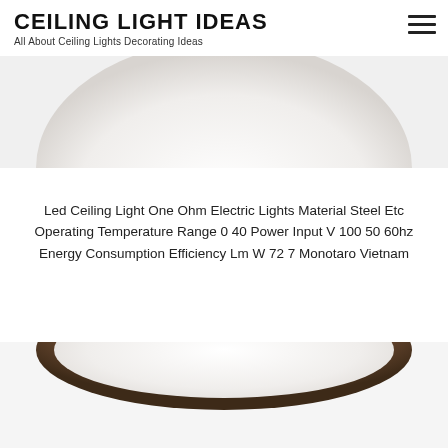CEILING LIGHT IDEAS
All About Ceiling Lights Decorating Ideas
[Figure (photo): Top portion of a white ceiling light fixture, shown as an elliptical dome shape, cropped at top]
Led Ceiling Light One Ohm Electric Lights Material Steel Etc Operating Temperature Range 0 40 Power Input V 100 50 60hz Energy Consumption Efficiency Lm W 72 7 Monotaro Vietnam
[Figure (photo): Bottom portion of a ceiling light fixture with a dark bronze/brown rim, showing the upper edge of the fixture cropped at the bottom of the page]